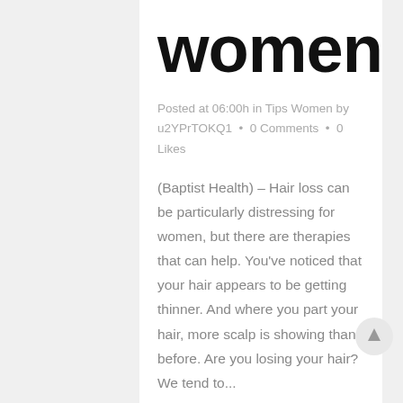women
Posted at 06:00h in Tips Women by u2YPrTOKQ1 • 0 Comments • 0 Likes
(Baptist Health) – Hair loss can be particularly distressing for women, but there are therapies that can help. You've noticed that your hair appears to be getting thinner. And where you part your hair, more scalp is showing than before. Are you losing your hair? We tend to...